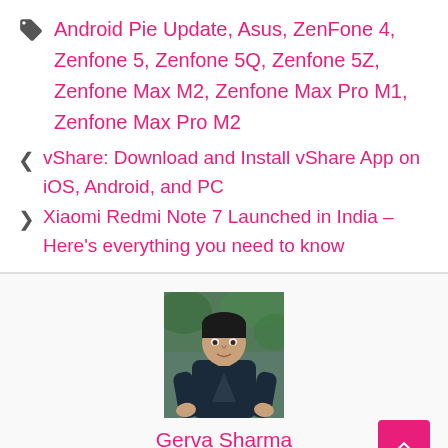Tags: Android Pie Update, Asus, ZenFone 4, Zenfone 5, Zenfone 5Q, Zenfone 5Z, Zenfone Max M2, Zenfone Max Pro M1, Zenfone Max Pro M2
< vShare: Download and Install vShare App on iOS, Android, and PC
> Xiaomi Redmi Note 7 Launched in India – Here's everything you need to know
[Figure (photo): Portrait photo of a young man with dark hair wearing a dark shirt, seated outdoors with green foliage in background.]
Gerva Sharma